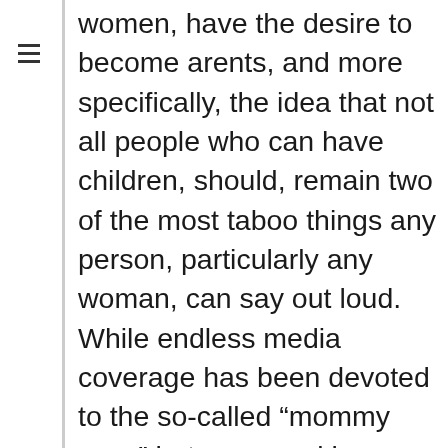women, have the desire to become arents, and more specifically, the idea that not all people who can have children, should, remain two of the most taboo things any person, particularly any woman, can say out loud. While endless media coverage has been devoted to the so-called “mommy wars” between working moms and stay at home moms and those who are pro-choice and those who are not, the real gulf, is one so controversial that the media hardly covers it at all: the gulf between those who do